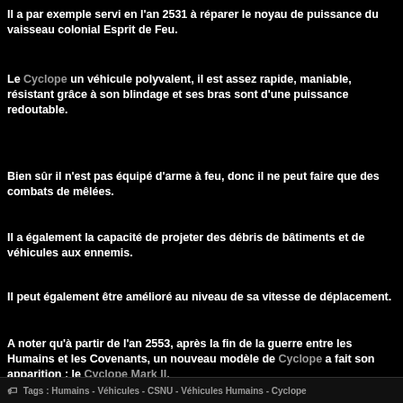Il a par exemple servi en l'an 2531 à réparer le noyau de puissance du vaisseau colonial Esprit de Feu.
Le Cyclope un véhicule polyvalent, il est assez rapide, maniable, résistant grâce à son blindage et ses bras sont d'une puissance redoutable.
Bien sûr il n'est pas équipé d'arme à feu, donc il ne peut faire que des combats de mêlées.
Il a également la capacité de projeter des débris de bâtiments et de véhicules aux ennemis.
Il peut également être amélioré au niveau de sa vitesse de déplacement.
A noter qu'à partir de l'an 2553, après la fin de la guerre entre les Humains et les Covenants, un nouveau modèle de Cyclope a fait son apparition : le Cyclope Mark II.
🏷 Tags : Humains - Véhicules - CSNU - Véhicules Humains - Cyclope